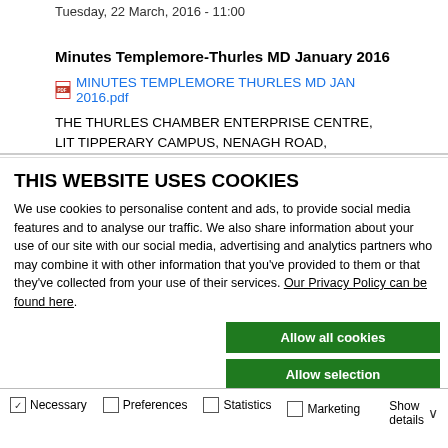Tuesday, 22 March, 2016 - 11:00
Minutes Templemore-Thurles MD January 2016
MINUTES TEMPLEMORE THURLES MD JAN 2016.pdf
THE THURLES CHAMBER ENTERPRISE CENTRE, LIT TIPPERARY CAMPUS, NENAGH ROAD, THURLES
THIS WEBSITE USES COOKIES
We use cookies to personalise content and ads, to provide social media features and to analyse our traffic. We also share information about your use of our site with our social media, advertising and analytics partners who may combine it with other information that you've provided to them or that they've collected from your use of their services. Our Privacy Policy can be found here.
Allow all cookies
Allow selection
Use necessary cookies only
Necessary  Preferences  Statistics  Marketing  Show details